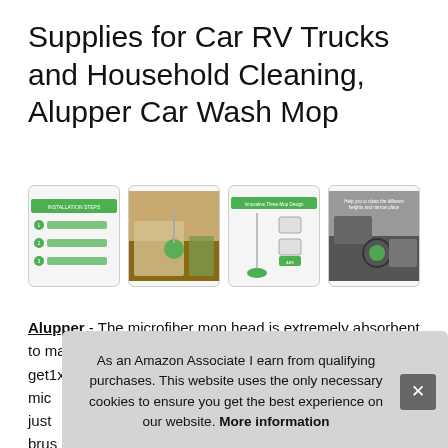Supplies for Car RV Trucks and Household Cleaning, Alupper Car Wash Mop
[Figure (photo): Four product thumbnail images showing the Alupper Car Wash Mop: (1) installation steps diagram with green highlights, (2) mop being used indoors on floor, (3) innovative three-mop design diagram, (4) mop cleaning car exterior.]
Alupper - The microfiber mop head is extremely absorbent to make your wash super easier and faster. What you get1x alum... mic... just brus can...
As an Amazon Associate I earn from qualifying purchases. This website uses the only necessary cookies to ensure you get the best experience on our website. More information